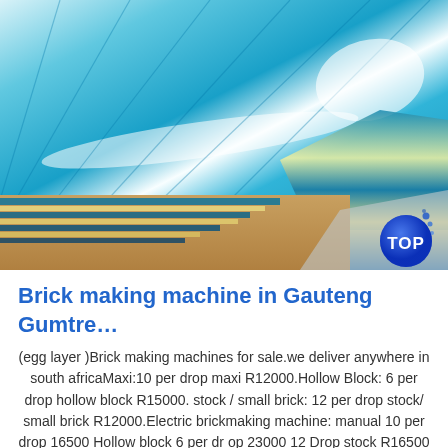[Figure (photo): Photo of stacked blue-covered aluminum or metal sheets/panels piled on a beige/tan surface, viewed from an angle showing the top surface with linear markings and light reflections.]
Brick making machine in Gauteng Gumtre…
(egg layer )Brick making machines for sale.we deliver anywhere in south africaMaxi:10 per drop maxi R12000.Hollow Block: 6 per drop hollow block R15000. stock / small brick: 12 per drop stock/ small brick R12000.Electric brickmaking machine: manual 10 per drop 16500 Hollow block 6 per dr op 23000 12 Drop stock R16500 To see all of our machines please go to our website: ...